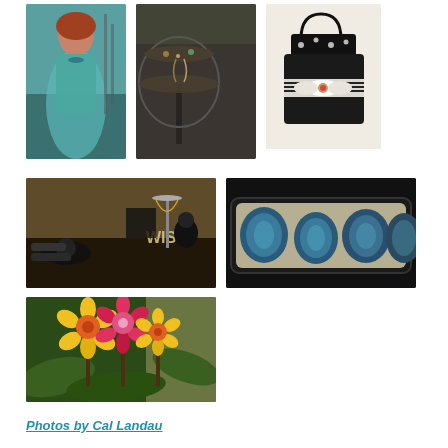[Figure (photo): Woman in teal dress wearing jewelry at a fashion event]
[Figure (photo): Ornate jewelry display stand with necklaces and accessories]
[Figure (photo): Black woven handbag with bow decoration and polka dot accents]
[Figure (photo): Jewelry display table with WISH sign, necklaces, bracelets and accessories]
[Figure (photo): Blue agate stone slices displayed in sand in a dark tray]
[Figure (photo): Colorful decorative tropical flowers arrangement with green leaves]
Photos by Cal Landau